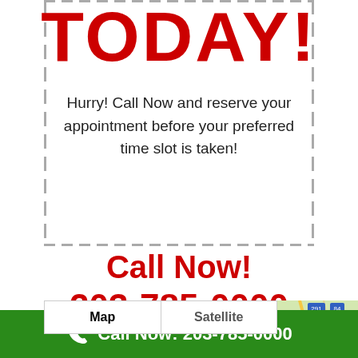TODAY!
Hurry! Call Now and reserve your appointment before your preferred time slot is taken!
Call Now!
203-785-0000
[Figure (map): Google Maps style map showing Hartford area with Map and Satellite tabs and a fullscreen button]
Call Now: 203-785-0000